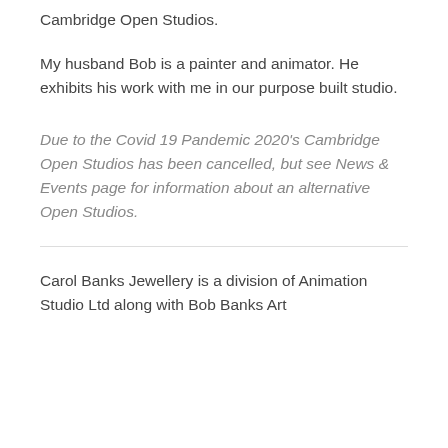Cambridge Open Studios.
My husband Bob is a painter and animator. He exhibits his work with me in our purpose built studio.
Due to the Covid 19 Pandemic 2020's Cambridge Open Studios has been cancelled, but see News & Events page for information about an alternative Open Studios.
Carol Banks Jewellery is a division of Animation Studio Ltd along with Bob Banks Art